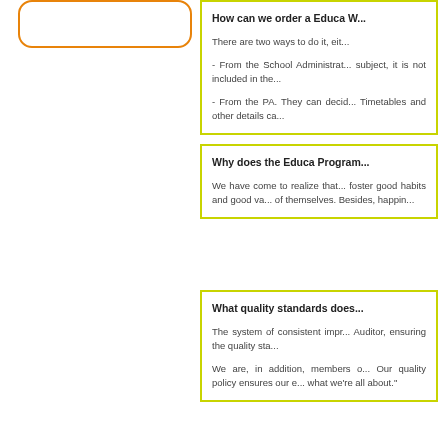[Figure (other): Orange rounded rectangle box outline on left side]
How can we order a Educa W...
There are two ways to do it, eit...
- From the School Administrat... subject, it is not included in the...
- From the PA. They can decid... Timetables and other details ca...
Why does the Educa Program...
We have come to realize that... foster good habits and good va... of themselves. Besides, happin...
What quality standards does...
The system of consistent impr... Auditor, ensuring the quality sta...
We are, in addition, members o... Our quality policy ensures our e... what we're all about."